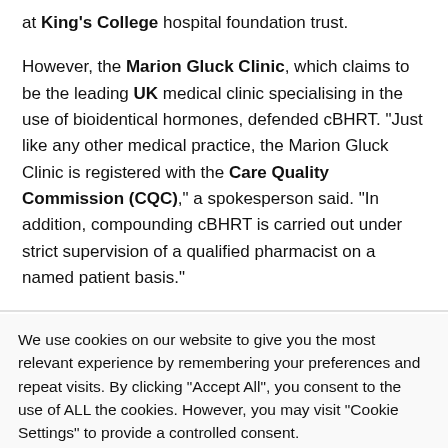at King's College hospital foundation trust.
However, the Marion Gluck Clinic, which claims to be the leading UK medical clinic specialising in the use of bioidentical hormones, defended cBHRT. "Just like any other medical practice, the Marion Gluck Clinic is registered with the Care Quality Commission (CQC)," a spokesperson said. "In addition, compounding cBHRT is carried out under strict supervision of a qualified pharmacist on a named patient basis."
We use cookies on our website to give you the most relevant experience by remembering your preferences and repeat visits. By clicking "Accept All", you consent to the use of ALL the cookies. However, you may visit "Cookie Settings" to provide a controlled consent.